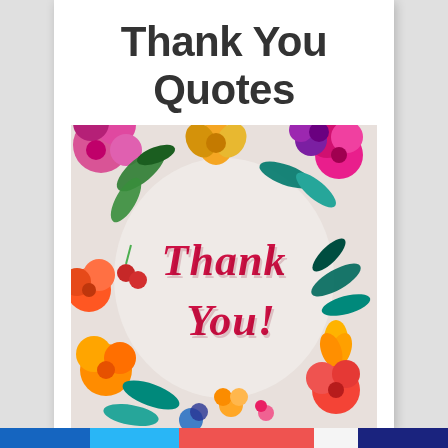Thank You Quotes
[Figure (illustration): Colorful floral wreath illustration surrounding 'Thank You!' text in red cursive script on a light gray background. Flowers include pink, orange, red, yellow, and purple blooms with green tropical leaves.]